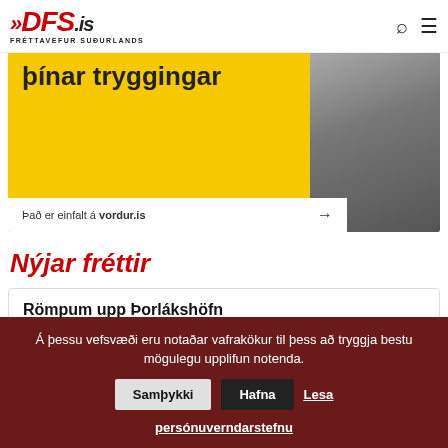DFS.is FRÉTTAVEFUR SUÐURLANDS
[Figure (illustration): Advertisement banner with yellow background showing text 'þínar tryggingar' and a white box below saying 'Það er einfalt á vordur.is' with an arrow, alongside a photo of a pavement/road]
Nýjar fréttir
Römpum upp Þorlákshöfn
18. ágúst 2022
Á þessu vefsvæði eru notaðar vafrakökur til þess að tryggja bestu mögulegu upplifun notenda. Samþykki Hafna Lesa persónuverndarstefnu